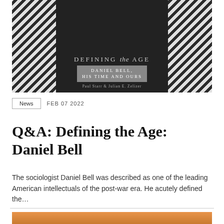[Figure (photo): Book cover of 'Defining the Age: Daniel Bell, His Time and Ours' by Paul Starr & Julian E. Zelizer. Dark background with diagonal black and white stripes on the sides, a person visible in the center background.]
News   FEB 07 2022
Q&A: Defining the Age: Daniel Bell
The sociologist Daniel Bell was described as one of the leading American intellectuals of the post-war era. He acutely defined the...
[Figure (photo): Orange-tinted portrait photo of a man with glasses, partially visible at the bottom of the page.]